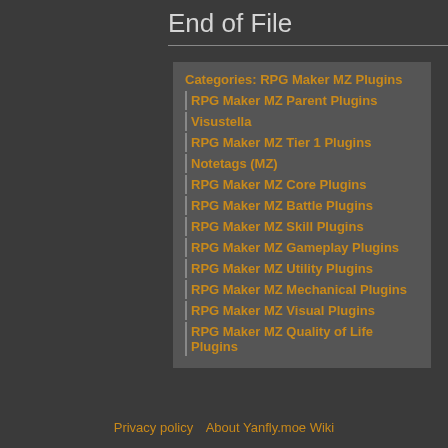End of File
Categories:  RPG Maker MZ Plugins
RPG Maker MZ Parent Plugins
Visustella
RPG Maker MZ Tier 1 Plugins
Notetags (MZ)
RPG Maker MZ Core Plugins
RPG Maker MZ Battle Plugins
RPG Maker MZ Skill Plugins
RPG Maker MZ Gameplay Plugins
RPG Maker MZ Utility Plugins
RPG Maker MZ Mechanical Plugins
RPG Maker MZ Visual Plugins
RPG Maker MZ Quality of Life Plugins
Privacy policy   About Yanfly.moe Wiki